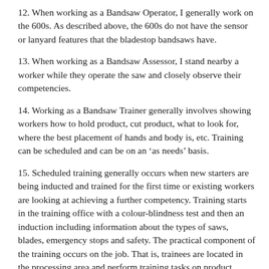12. When working as a Bandsaw Operator, I generally work on the 600s. As described above, the 600s do not have the sensor or lanyard features that the bladestop bandsaws have.
13. When working as a Bandsaw Assessor, I stand nearby a worker while they operate the saw and closely observe their competencies.
14. Working as a Bandsaw Trainer generally involves showing workers how to hold product, cut product, what to look for, where the best placement of hands and body is, etc. Training can be scheduled and can be on an ‘as needs’ basis.
15. Scheduled training generally occurs when new starters are being inducted and trained for the first time or existing workers are looking at achieving a further competency. Training starts in the training office with a colour-blindness test and then an induction including information about the types of saws, blades, emergency stops and safety. The practical component of the training occurs on the job. That is, trainees are located in the processing area and perform training tasks on product.
16. ‘As needs’ training occurs when a problem or